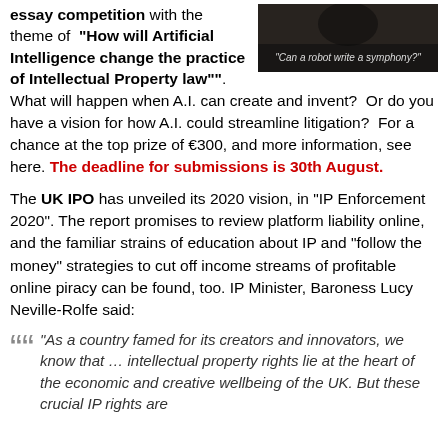essay competition with the theme of "How will Artificial Intelligence change the practice of Intellectual Property law"". What will happen when A.I. can create and invent?  Or do you have a vision for how A.I. could streamline litigation?  For a chance at the top prize of €300, and more information, see here. The deadline for submissions is 30th August.
[Figure (photo): Dark image with text overlay reading 'Can a robot write a symphony?']
The UK IPO has unveiled its 2020 vision, in "IP Enforcement 2020". The report promises to review platform liability online, and the familiar strains of education about IP and "follow the money" strategies to cut off income streams of profitable online piracy can be found, too. IP Minister, Baroness Lucy Neville-Rolfe said:
"As a country famed for its creators and innovators, we know that … intellectual property rights lie at the heart of the economic and creative wellbeing of the UK. But these crucial IP rights are